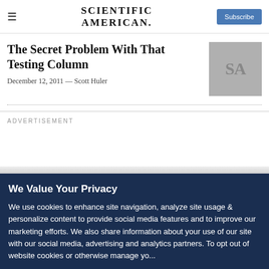SCIENTIFIC AMERICAN
The Secret Problem With That Testing Column
December 12, 2011 — Scott Huler
[Figure (logo): Scientific American SA placeholder thumbnail, gray square with 'SA' letters]
ADVERTISEMENT
We Value Your Privacy
We use cookies to enhance site navigation, analyze site usage & personalize content to provide social media features and to improve our marketing efforts. We also share information about your use of our site with our social media, advertising and analytics partners. To opt out of website cookies or otherwise manage your cookie settings, click on Cookie Settings. View O...